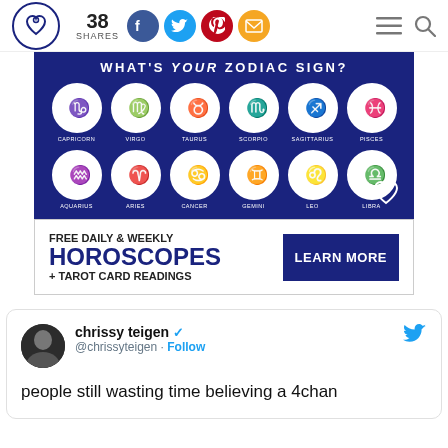38 SHARES | Social share icons | Hamburger menu | Search
[Figure (infographic): Zodiac sign infographic on dark blue background showing WHAT'S YOUR ZODIAC SIGN? with 12 zodiac symbols in circles: Capricorn, Virgo, Taurus, Scorpio, Sagittarius, Pisces, Aquarius, Aries, Cancer, Gemini, Leo, Libra]
[Figure (infographic): Advertisement: FREE DAILY & WEEKLY HOROSCOPES + TAROT CARD READINGS with LEARN MORE button]
chrissy teigen @chrissyteigen · Follow
people still wasting time believing a 4chan